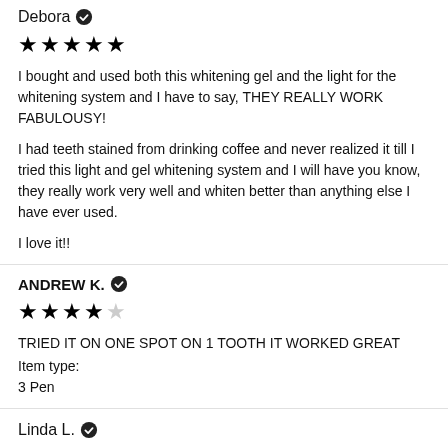Debora ✓
★★★★★
I bought and used both this whitening gel and the light for the whitening system and I have to say, THEY REALLY WORK FABULOUSY!

I had teeth stained from drinking coffee and never realized it till I tried this light and gel whitening system and I will have you know, they really work very well and whiten better than anything else I have ever used.

I love it!!
ANDREW K. ✓
★★★★☆
TRIED IT ON ONE SPOT ON 1 TOOTH IT WORKED GREAT
Item type:
3 Pen
Linda L. ✓